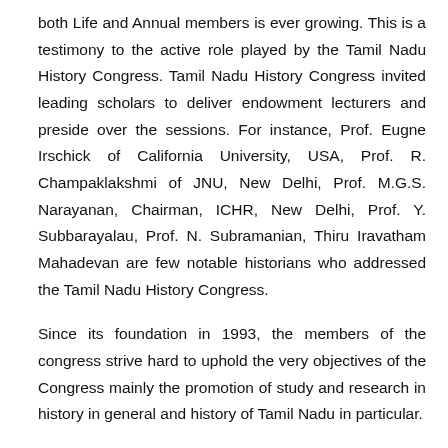both Life and Annual members is ever growing. This is a testimony to the active role played by the Tamil Nadu History Congress. Tamil Nadu History Congress invited leading scholars to deliver endowment lecturers and preside over the sessions. For instance, Prof. Eugne Irschick of California University, USA, Prof. R. Champaklakshmi of JNU, New Delhi, Prof. M.G.S. Narayanan, Chairman, ICHR, New Delhi, Prof. Y. Subbarayalau, Prof. N. Subramanian, Thiru Iravatham Mahadevan are few notable historians who addressed the Tamil Nadu History Congress.
Since its foundation in 1993, the members of the congress strive hard to uphold the very objectives of the Congress mainly the promotion of study and research in history in general and history of Tamil Nadu in particular.